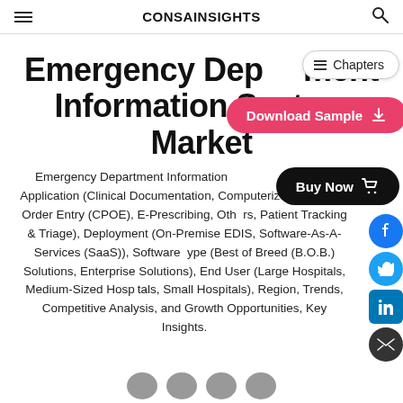CONSAINSIGHTS
Emergency Department Information System Market
Emergency Department Information System Market by Application (Clinical Documentation, Computerized Physician Order Entry (CPOE), E-Prescribing, Others, Patient Tracking & Triage), Deployment (On-Premise EDIS, Software-As-A-Services (SaaS)), Software Type (Best of Breed (B.O.B.) Solutions, Enterprise Solutions), End User (Large Hospitals, Medium-Sized Hospitals, Small Hospitals), Region, Trends, Competitive Analysis, and Growth Opportunities, Key Insights.